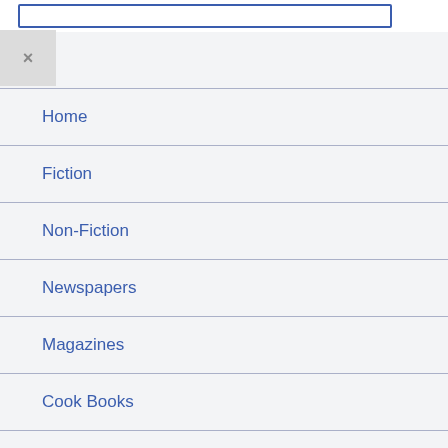[Figure (screenshot): Search input box with blue border at top of page]
[Figure (screenshot): Close/dismiss button (X) in gray square]
Home
Fiction
Non-Fiction
Newspapers
Magazines
Cook Books